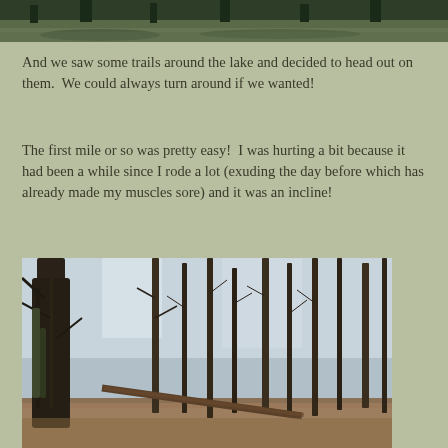[Figure (photo): Top portion of a lake or water scene with dark green trees reflected in water, cropped view showing only the bottom strip]
And we saw some trails around the lake and decided to head out on them.  We could always turn around if we wanted!
The first mile or so was pretty easy!  I was hurting a bit because it had been a while since I rode a lot (exuding the day before which has already made my muscles sore) and it was an incline!
[Figure (photo): Forest trail photo showing bare winter trees with thin trunks, a fallen log across the path, and leaf-covered ground. Sky visible through the canopy.]